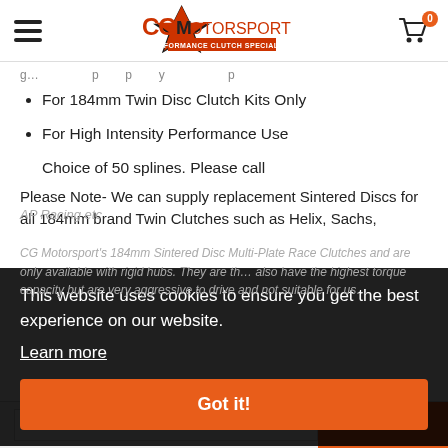CG Motorsport - Performance Clutch Specialists
…igi… g… p… p… y… p…
For 184mm Twin Disc Clutch Kits Only
For High Intensity Performance Use
Choice of 50 splines. Please call
Please Note- We can supply replacement Sintered Discs for all 184mm brand Twin Clutches such as Helix, Sachs, AP Racing etc
CG Motorsport's 184mm Sintered Disc Multi-Plate Race Clutches and are only available with rigid hubs. They are the… also have the highest torque capacity but are very aggressive to drive and not suitable for use on public roads
This website uses cookies to ensure you get the best experience on our website.
Learn more
Got it!
Default Title - £126.00
ADD TO CART